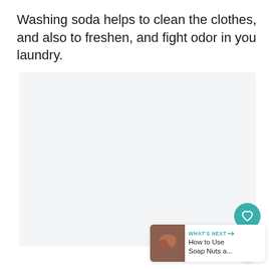Washing soda helps to clean the clothes, and also to freshen, and fight odor in you laundry.
[Figure (photo): Light grey/white rectangular image placeholder area representing a photo]
[Figure (infographic): WHAT'S NEXT card with thumbnail showing soap nuts and text 'How to Use Soap Nuts a...']